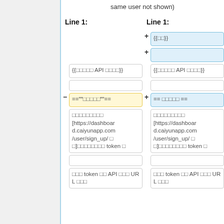same user not shown)
Line 1:　Line 1:
+ {{□□}} (added line)
+ (empty added line)
{{□□□□□ API □□□□}} | {{□□□□□ API □□□□}}
(empty rows)
- =='''□□□□□'''== | + == □□□□□ ==
□□□□□□□□□ [https://dashboard.caiyunapp.com/user/sign_up/ □□]□□□□□□□□ token □
(empty rows)
□□□ token □□ API □□□ URL □□□